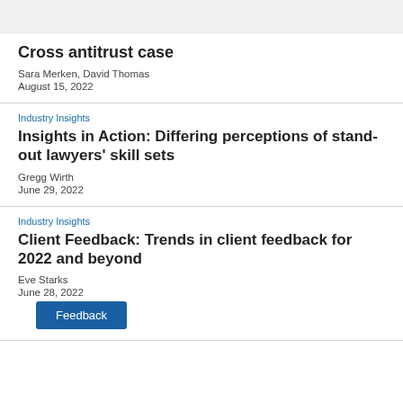Cross antitrust case
Sara Merken, David Thomas
August 15, 2022
Industry Insights
Insights in Action: Differing perceptions of stand-out lawyers' skill sets
Gregg Wirth
June 29, 2022
Industry Insights
Client Feedback: Trends in client feedback for 2022 and beyond
Eve Starks
June 28, 2022